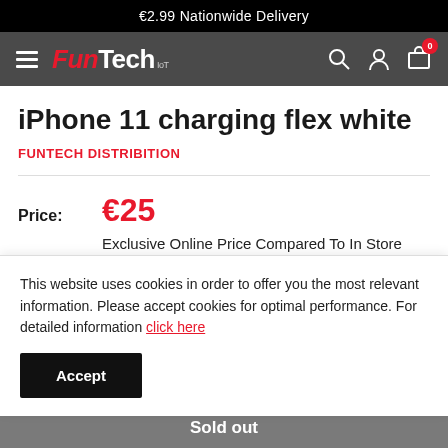€2.99 Nationwide Delivery
[Figure (logo): FunTech IoT logo with hamburger menu and navigation icons (search, account, cart with 0 badge)]
iPhone 11 charging flex white
FUNTECH DISTRIBITION
Price: €25
Exclusive Online Price Compared To In Store Price!
Stock: Sold out
This website uses cookies in order to offer you the most relevant information. Please accept cookies for optimal performance. For detailed information click here
Accept
Sold out